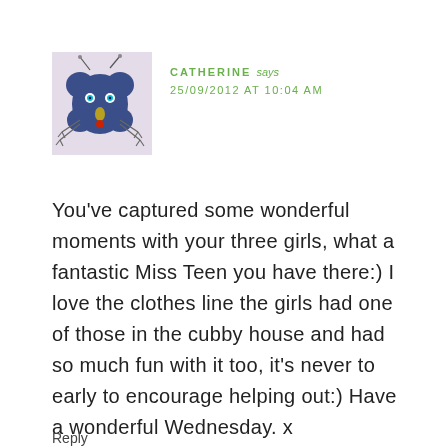[Figure (illustration): Avatar image of a blue cartoon bug/monster character with antennae, teal eyes, and legs on a light pink/lavender background]
CATHERINE says
25/09/2012 AT 10:04 AM
You’ve captured some wonderful moments with your three girls, what a fantastic Miss Teen you have there:) I love the clothes line the girls had one of those in the cubby house and had so much fun with it too, it’s never to early to encourage helping out:) Have a wonderful Wednesday. x
Reply